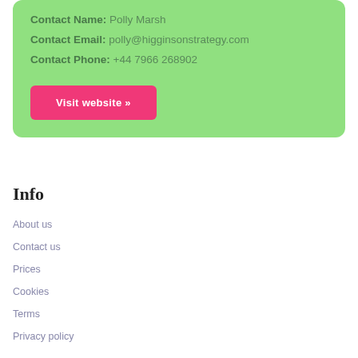Contact Name: Polly Marsh
Contact Email: polly@higginstrategy.com
Contact Phone: +44 7966 268902
Visit website »
Info
About us
Contact us
Prices
Cookies
Terms
Privacy policy